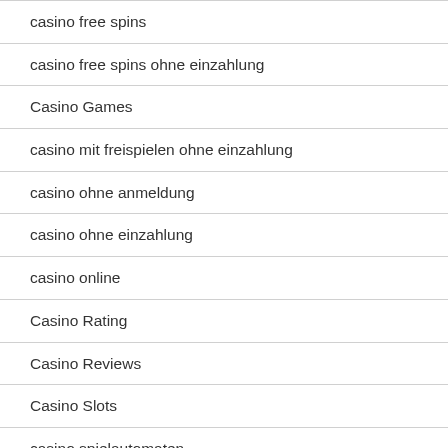casino free spins
casino free spins ohne einzahlung
Casino Games
casino mit freispielen ohne einzahlung
casino ohne anmeldung
casino ohne einzahlung
casino online
Casino Rating
Casino Reviews
Casino Slots
casino spielautomaten